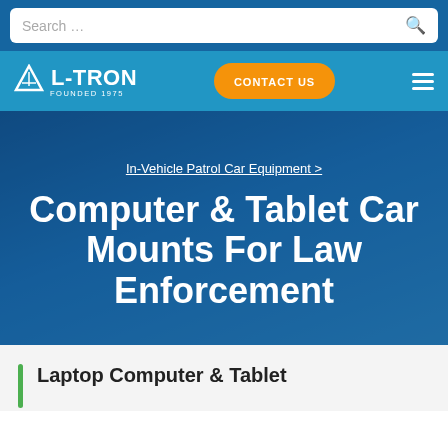Search …
[Figure (logo): L-TRON logo with triangle icon and text 'FOUNDED 1975', orange CONTACT US button, hamburger menu icon on blue navbar]
In-Vehicle Patrol Car Equipment >
Computer & Tablet Car Mounts For Law Enforcement
Laptop Computer & Tablet